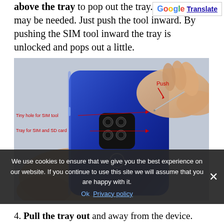above the tray to pop out the tray. Some force may be needed. Just push the tool inward. By pushing the SIM tool inward the tray is unlocked and pops out a little.
[Figure (photo): Photo of hands inserting a SIM tool into the SIM tray hole of a blue Motorola smartphone. Red annotation labels point to 'Tiny hole for SIM tool' and 'Tray for SIM and SD card'. A 'Push' label with arrow shows direction of tool insertion.]
We use cookies to ensure that we give you the best experience on our website. If you continue to use this site we will assume that you are happy with it.
Ok   Privacy policy
4. Pull the tray out and away from the device.